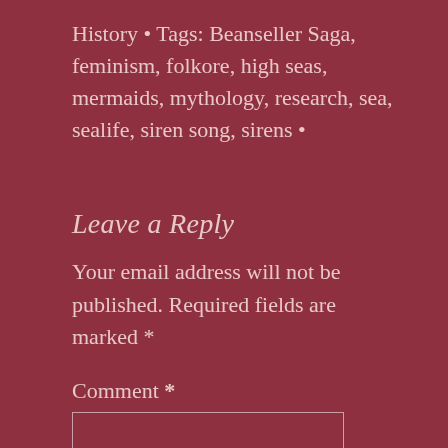History • Tags: Beanseller Saga, feminism, folkore, high seas, mermaids, mythology, research, sea, sealife, siren song, sirens •
Leave a Reply
Your email address will not be published. Required fields are marked *
Comment *